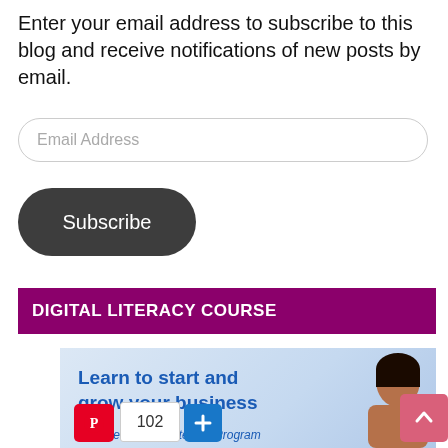Enter your email address to subscribe to this blog and receive notifications of new posts by email.
Email Address
Subscribe
DIGITAL LITERACY COURSE
[Figure (screenshot): Advertisement banner for a business literacy course showing 'Learn to start and grow your business' headline in blue, with subtitle 'Join the Busines Literacy Program', a partial photo of a woman, Pinterest share button, count of 102, a plus/add button, and a scroll-to-top arrow button.]